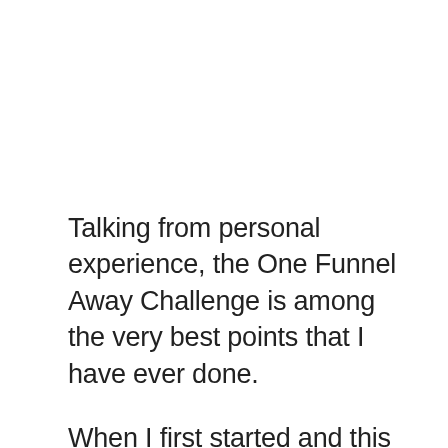Talking from personal experience, the One Funnel Away Challenge is among the very best points that I have ever done.
When I first started and this difficulty actually aided me to recognize the procedure and just how to construct my organization from scrape, I had no concept what I was doing.